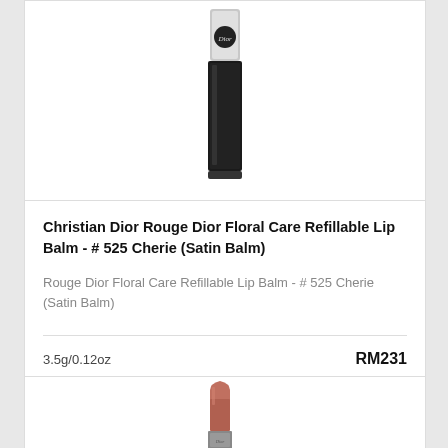[Figure (photo): Partial view of a Christian Dior lipstick/lip balm product with black casing and silver cap, shown at top of page]
Christian Dior Rouge Dior Floral Care Refillable Lip Balm - # 525 Cherie (Satin Balm)
Rouge Dior Floral Care Refillable Lip Balm - # 525 Cherie (Satin Balm)
3.5g/0.12oz
RM231
ADD TO CART
[Figure (photo): Partial view of a rose-pink/mauve lipstick product shown at the bottom of the page]